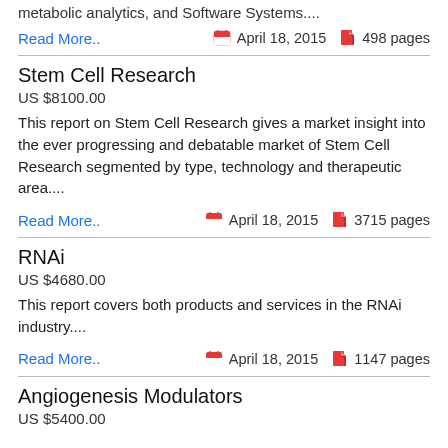metabolic analytics, and Software Systems....
Read More..  April 18, 2015  498 pages
Stem Cell Research
US $8100.00
This report on Stem Cell Research gives a market insight into the ever progressing and debatable market of Stem Cell Research segmented by type, technology and therapeutic area....
Read More..  April 18, 2015  3715 pages
RNAi
US $4680.00
This report covers both products and services in the RNAi industry....
Read More..  April 18, 2015  1147 pages
Angiogenesis Modulators
US $5400.00